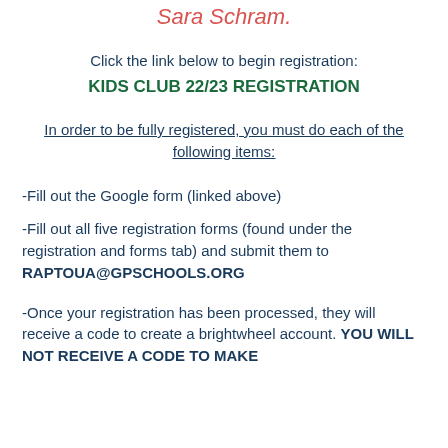Sara Schram.
Click the link below to begin registration:
KIDS CLUB 22/23 REGISTRATION
In order to be fully registered, you must do each of the following items:
-Fill out the Google form (linked above)
-Fill out all five registration forms (found under the registration and forms tab) and submit them to RAPTOUA@GPSCHOOLS.ORG
-Once your registration has been processed, they will receive a code to create a brightwheel account. YOU WILL NOT RECEIVE A CODE TO MAKE